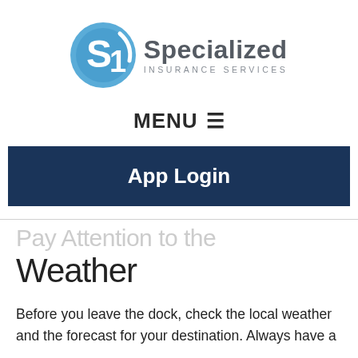[Figure (logo): Specialized Insurance Services logo with blue circular SI emblem and company name]
MENU ☰
App Login
Pay Attention to the Weather
Before you leave the dock, check the local weather and the forecast for your destination. Always have a